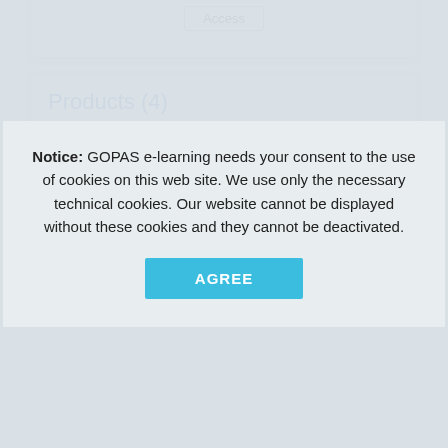[Figure (screenshot): Access button at top of page inside a white card]
Products (4)
| MS Office 2013 - Nouveautés |  |
| --- | --- |
| Instruction Language: French | Application Language: French |
Notice: GOPAS e-learning needs your consent to the use of cookies on this web site. We use only the necessary technical cookies. Our website cannot be displayed without these cookies and they cannot be deactivated.
AGREE